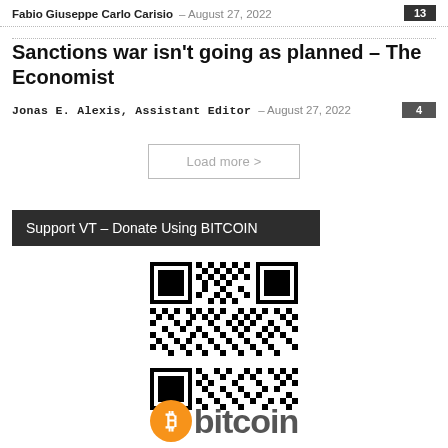Fabio Giuseppe Carlo Carisio – August 27, 2022  13
Sanctions war isn't going as planned – The Economist
Jonas E. Alexis, Assistant Editor – August 27, 2022  4
Load more >
Support VT – Donate Using BITCOIN
[Figure (other): QR code for Bitcoin donation]
[Figure (logo): Bitcoin logo with orange circle containing Bitcoin symbol and the word 'bitcoin' in grey text]